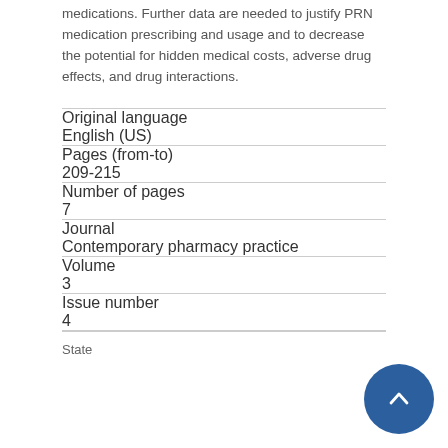medications. Further data are needed to justify PRN medication prescribing and usage and to decrease the potential for hidden medical costs, adverse drug effects, and drug interactions.
| Field | Value |
| --- | --- |
| Original language | English (US) |
| Pages (from-to) | 209-215 |
| Number of pages | 7 |
| Journal | Contemporary pharmacy practice |
| Volume | 3 |
| Issue number | 4 |
| State |  |